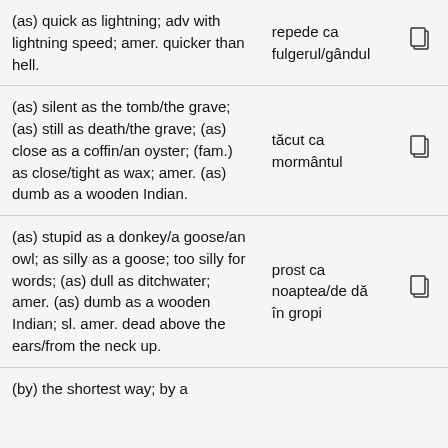| English | Romanian |  |
| --- | --- | --- |
| (as) quick as lightning; adv with lightning speed; amer. quicker than hell. | repede ca fulgerul/gândul | ☐ |
| (as) silent as the tomb/the grave; (as) still as death/the grave; (as) close as a coffin/an oyster; (fam.) as close/tight as wax; amer. (as) dumb as a wooden Indian. | tăcut ca mormântul | ☐ |
| (as) stupid as a donkey/a goose/an owl; as silly as a goose; too silly for words; (as) dull as ditchwater; amer. (as) dumb as a wooden Indian; sl. amer. dead above the ears/from the neck up. | prost ca noaptea/de dă în gropi | ☐ |
| (by) the shortest way; by a |  |  |